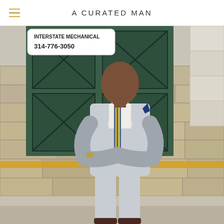A CURATED MAN
[Figure (photo): A well-dressed man in a light grey suit with a blue and gold striped tie and navy pocket square, arms crossed, standing in front of a green door and stone wall. A sign reading 'INTERSTATE MECHANICAL 314-776-3050' is visible in the upper left of the image.]